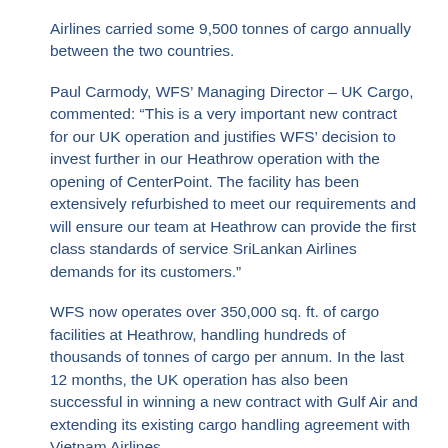Airlines carried some 9,500 tonnes of cargo annually between the two countries.
Paul Carmody, WFS' Managing Director – UK Cargo, commented: “This is a very important new contract for our UK operation and justifies WFS’ decision to invest further in our Heathrow operation with the opening of CenterPoint. The facility has been extensively refurbished to meet our requirements and will ensure our team at Heathrow can provide the first class standards of service SriLankan Airlines demands for its customers.”
WFS now operates over 350,000 sq. ft. of cargo facilities at Heathrow, handling hundreds of thousands of tonnes of cargo per annum. In the last 12 months, the UK operation has also been successful in winning a new contract with Gulf Air and extending its existing cargo handling agreement with Vietnam Airlines.